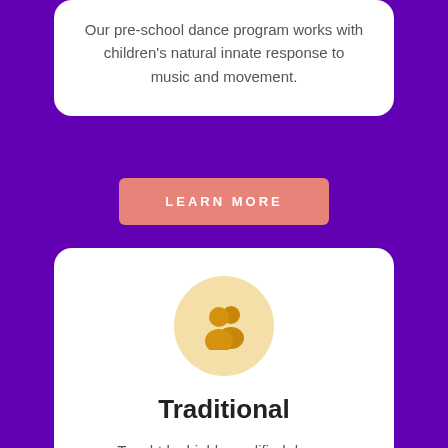Our pre-school dance program works with children's natural innate response to music and movement.
LEARN MORE
[Figure (illustration): Two people icon (group/users) in golden/amber color on a light peach/tan circular background]
Traditional
Taught by highly qualified dance educators who bring out the best in every individual in a fun, non-competitive atmosphere.